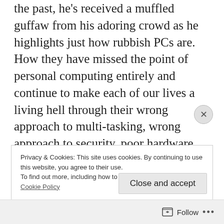the past, he's received a muffled guffaw from his adoring crowd as he highlights just how rubbish PCs are. How they have missed the point of personal computing entirely and continue to make each of our lives a living hell through their wrong approach to multi-tasking, wrong approach to security, poor hardware and for sleeping with our partners behind our backs.
Privacy & Cookies: This site uses cookies. By continuing to use this website, you agree to their use.
To find out more, including how to control cookies, see here:
Cookie Policy
Close and accept
Follow